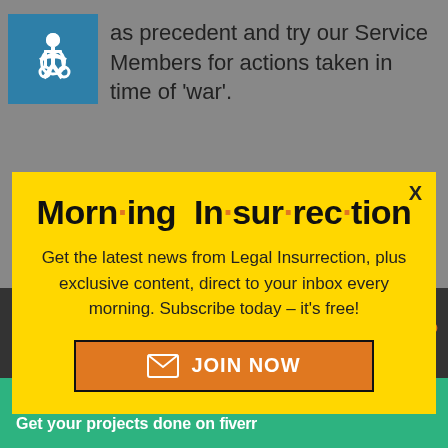as precedent and try our Service Members for actions taken in time of 'war'.
[Figure (infographic): Yellow modal popup for Morning Insurrection newsletter subscription from Legal Insurrection. Contains title 'Morn·ing In·sur·rec·tion', description text, and orange JOIN NOW button.]
Working from home? Get your projects done on fiverr